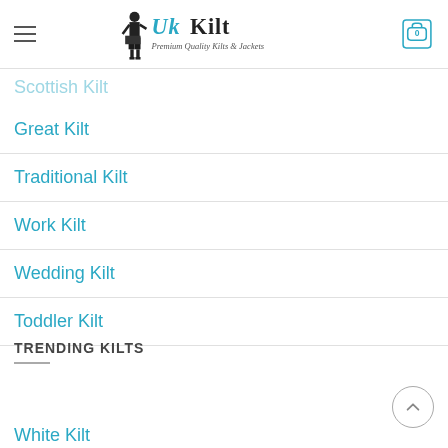TRENDING KILTS (partial top label)
[Figure (logo): UK Kilt logo with man in kilt, decorative gothic font 'Uk Kilt', subtitle 'Premium Quality Kilts & Jackets']
Scottish Kilt
Great Kilt
Traditional Kilt
Work Kilt
Wedding Kilt
Toddler Kilt
TRENDING KILTS
White Kilt
Canvas Kilt